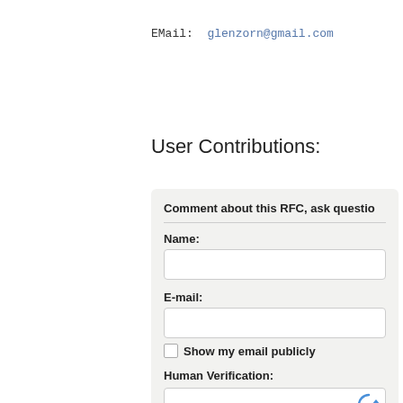EMail: glenzorn@gmail.com
User Contributions:
Comment about this RFC, ask questio...
Name:
E-mail:
Show my email publicly
Human Verification: